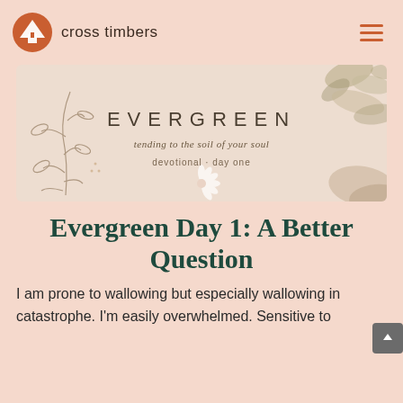cross timbers
[Figure (illustration): Evergreen devotional banner with botanical watercolor leaf illustrations. Text reads: EVERGREEN, tending to the soil of your soul, devotional · day one]
Evergreen Day 1: A Better Question
I am prone to wallowing but especially wallowing in catastrophe. I'm easily overwhelmed. Sensitive to